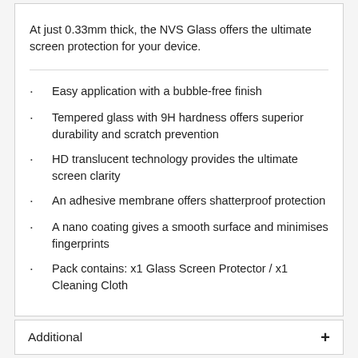At just 0.33mm thick, the NVS Glass offers the ultimate screen protection for your device.
Easy application with a bubble-free finish
Tempered glass with 9H hardness offers superior durability and scratch prevention
HD translucent technology provides the ultimate screen clarity
An adhesive membrane offers shatterproof protection
A nano coating gives a smooth surface and minimises fingerprints
Pack contains: x1 Glass Screen Protector / x1 Cleaning Cloth
Additional